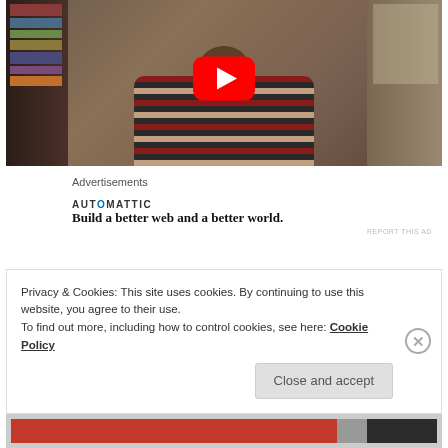[Figure (screenshot): YouTube video thumbnail showing a man in a striped sweater sitting in front of bookshelves, with a red YouTube play button overlay in the center]
Advertisements
[Figure (logo): AUTOMATTIC logo with a blue dot in the letter O]
Build a better web and a better world.
REPORT THIS AD
Privacy & Cookies: This site uses cookies. By continuing to use this website, you agree to their use.
To find out more, including how to control cookies, see here: Cookie Policy
Close and accept